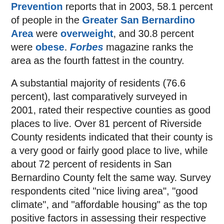Prevention reports that in 2003, 58.1 percent of people in the Greater San Bernardino Area were overweight, and 30.8 percent were obese. Forbes magazine ranks the area as the fourth fattest in the country.
A substantial majority of residents (76.6 percent), last comparatively surveyed in 2001, rated their respective counties as good places to live. Over 81 percent of Riverside County residents indicated that their county is a very good or fairly good place to live, while about 72 percent of residents in San Bernardino County felt the same way. Survey respondents cited "nice living area", "good climate", and "affordable housing" as the top positive factors in assessing their respective communities. Smog was by far the most important negative factor affecting respondents' ratings in both counties, while traffic was the second highest concern in Riverside County and crime the